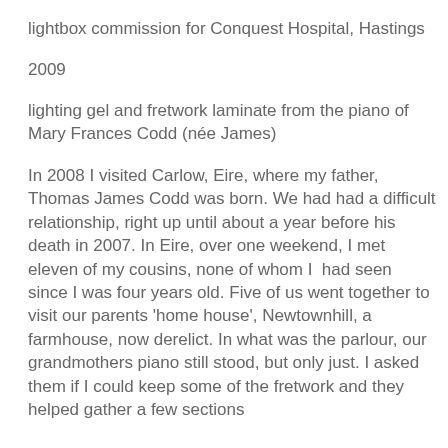lightbox commission for Conquest Hospital, Hastings
2009
lighting gel and fretwork laminate from the piano of Mary Frances Codd (née James)
In 2008 I visited Carlow, Eire, where my father, Thomas James Codd was born. We had had a difficult relationship, right up until about a year before his death in 2007. In Eire, over one weekend, I met eleven of my cousins, none of whom I had seen since I was four years old. Five of us went together to visit our parents 'home house', Newtownhill, a farmhouse, now derelict. In what was the parlour, our grandmothers piano still stood, but only just. I asked them if I could keep some of the fretwork and they helped gather a few sections